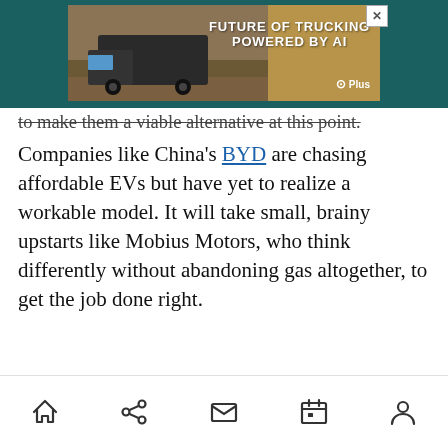[Figure (screenshot): Advertisement banner: 'FUTURE OF TRUCKING POWERED BY AI' with truck image and G|Plus logo, with X close button]
to make them a viable alternative at this point.
Companies like China's BYD are chasing affordable EVs but have yet to realize a workable model. It will take small, brainy upstarts like Mobius Motors, who think differently without abandoning gas altogether, to get the job done right.
VentureBeat's mission is to be a digital town square for technical decision-makers to gain knowledge about transformative enterprise technology and transact. Discover our Briefings.
Home Share Mail Calendar Profile navigation icons